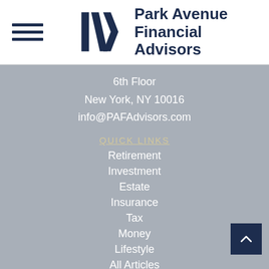Park Avenue Financial Advisors
6th Floor
New York, NY 10016
info@PAFAdvisors.com
Quick Links
Retirement
Investment
Estate
Insurance
Tax
Money
Lifestyle
All Articles
All Videos
All Calculators